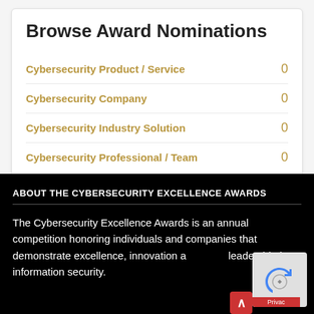Browse Award Nominations
Cybersecurity Product / Service    0
Cybersecurity Company    0
Cybersecurity Industry Solution    0
Cybersecurity Professional / Team    0
ABOUT THE CYBERSECURITY EXCELLENCE AWARDS
The Cybersecurity Excellence Awards is an annual competition honoring individuals and companies that demonstrate excellence, innovation and leadership in information security.